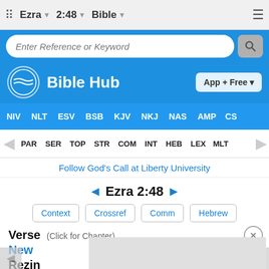Ezra  2:48  Bible
[Figure (screenshot): Bible Hub website screenshot showing search bar, brand bar with logo, translation navigation (NIV, NLT, ESV, BSB, KJV, NKJ, NAS, AMP, CS), tool navigation (PAR, SER, TOP, STR, COM, INT, HEB, LEX, MLT), advertisement link, Ezra 2:48 verse title with navigation buttons (Context, Crossref, Comm, Hebrew), and partial verse content.]
Follow God's Call at Liberty University
◄ Ezra 2:48 ►
Context  Crossref  Comm  Hebrew
Verse (Click for Chapter)
New
Rezin